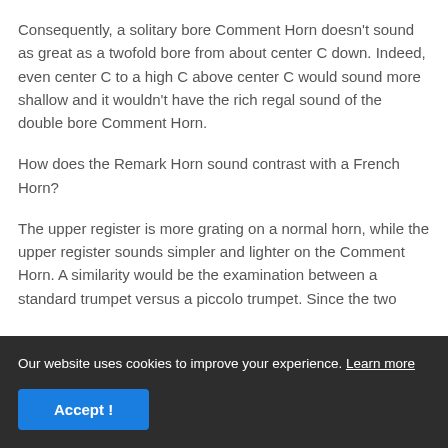Consequently, a solitary bore Comment Horn doesn't sound as great as a twofold bore from about center C down. Indeed, even center C to a high C above center C would sound more shallow and it wouldn't have the rich regal sound of the double bore Comment Horn.
How does the Remark Horn sound contrast with a French Horn?
The upper register is more grating on a normal horn, while the upper register sounds simpler and lighter on the Comment Horn. A similarity would be the examination between a standard trumpet versus a piccolo trumpet. Since the two
Our website uses cookies to improve your experience. Learn more
Additionally, the Remark Horn won't be very as profound - it's